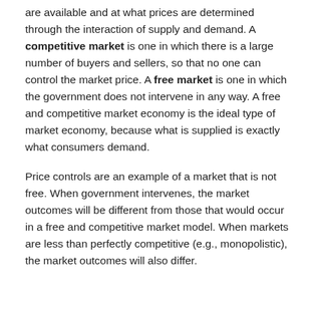are available and at what prices are determined through the interaction of supply and demand. A competitive market is one in which there is a large number of buyers and sellers, so that no one can control the market price. A free market is one in which the government does not intervene in any way. A free and competitive market economy is the ideal type of market economy, because what is supplied is exactly what consumers demand.
Price controls are an example of a market that is not free. When government intervenes, the market outcomes will be different from those that would occur in a free and competitive market model. When markets are less than perfectly competitive (e.g., monopolistic), the market outcomes will also differ.